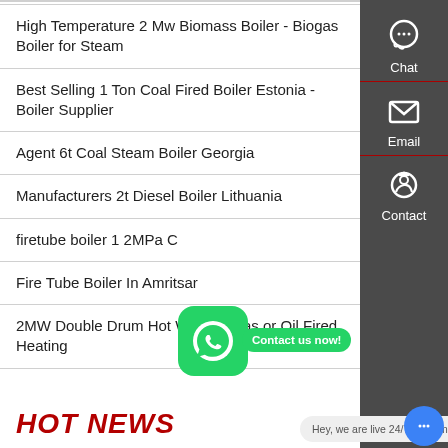High Temperature 2 Mw Biomass Boiler - Biogas Boiler for Steam
Best Selling 1 Ton Coal Fired Boiler Estonia - Boiler Supplier
Agent 6t Coal Steam Boiler Georgia
Manufacturers 2t Diesel Boiler Lithuania
firetube boiler 1 2MPa C
Fire Tube Boiler In Amritsar
2MW Double Drum Hot Water - Gas or Oil Fired Heating
HOT NEWS
[Figure (infographic): Right sidebar with Chat icon, Email icon, and Contact icon on dark grey background. WhatsApp floating button with green rounded square icon. 'Contact us now!' green button. Blue chat button with ellipsis. Text bubble: 'Hey, we are live 24/7. How may I help you?']